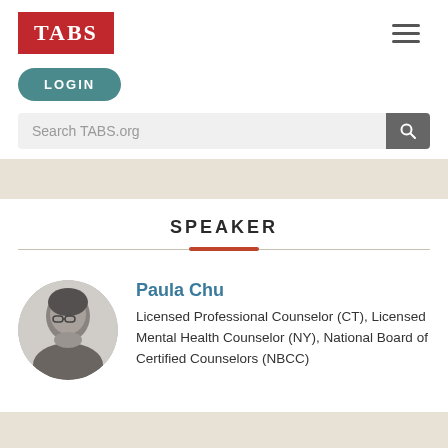[Figure (logo): TABS logo — white text on red background]
[Figure (other): Hamburger menu icon (three horizontal lines)]
LOGIN
Search TABS.org
SPEAKER
[Figure (photo): Black and white circular portrait photo of Paula Chu]
Paula Chu
Licensed Professional Counselor (CT), Licensed Mental Health Counselor (NY), National Board of Certified Counselors (NBCC)